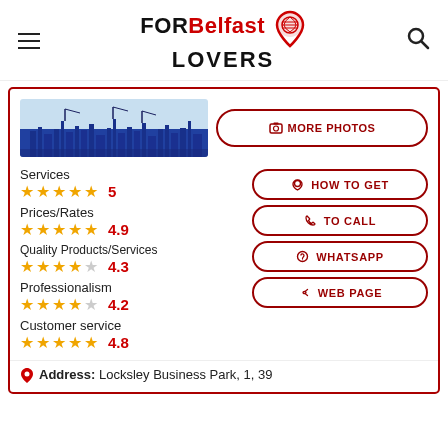FOR Belfast LOVERS
[Figure (screenshot): FOR Belfast LOVERS website header with logo, hamburger menu, and search icon]
[Figure (photo): Belfast city skyline illustration in blue tones]
MORE PHOTOS
Services
★★★★★ 5
Prices/Rates
★★★★★ 4.9
Quality Products/Services
★★★★☆ 4.3
Professionalism
★★★★☆ 4.2
Customer service
★★★★★ 4.8
HOW TO GET
TO CALL
WHATSAPP
WEB PAGE
Address: Locksley Business Park, 1, 39